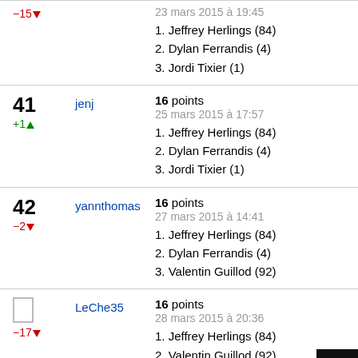| Rank/Delta | User | Points/Date/Picks |
| --- | --- | --- |
| -15 ↓ |  | 23 mars 2015 à 19:45 / 1. Jeffrey Herlings (84) / 2. Dylan Ferrandis (4) / 3. Jordi Tixier (1) |
| 41 +1 ↑ | jenj | 16 points / 25 mars 2015 à 17:57 / 1. Jeffrey Herlings (84) / 2. Dylan Ferrandis (4) / 3. Jordi Tixier (1) |
| 42 −2 ↓ | yannthomas | 16 points / 27 mars 2015 à 14:41 / 1. Jeffrey Herlings (84) / 2. Dylan Ferrandis (4) / 3. Valentin Guillod (92) |
| −17 ↓ | LeChe35 | 16 points / 28 mars 2015 à 20:36 / 1. Jeffrey Herlings (84) / 2. Valentin Guillod (92) / 3. Dylan Ferrandis (4) |